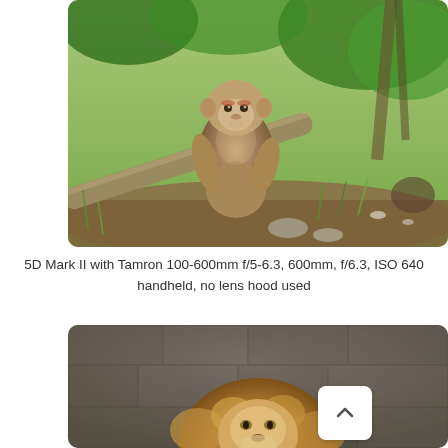[Figure (photo): A monkey (patas monkey) sitting upright on a log in a zoo enclosure, surrounded by green grass and foliage, photographed with a telephoto lens with shallow depth of field]
5D Mark II with Tamron 100-600mm f/5-6.3, 600mm, f/6.3, ISO 640 handheld, no lens hood used
[Figure (photo): A lion resting against a rocky stone wall background, photographed from above looking down, with golden mane visible]